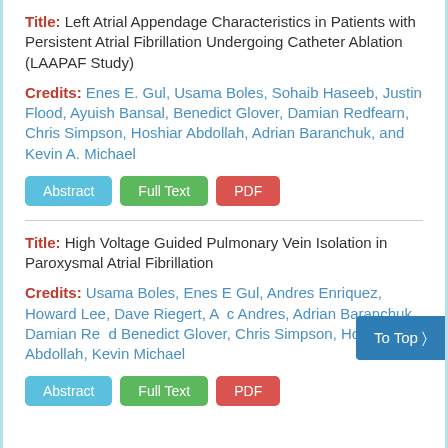Title: Left Atrial Appendage Characteristics in Patients with Persistent Atrial Fibrillation Undergoing Catheter Ablation (LAAPAF Study)
Credits: Enes E. Gul, Usama Boles, Sohaib Haseeb, Justin Flood, Ayuish Bansal, Benedict Glover, Damian Redfearn, Chris Simpson, Hoshiar Abdollah, Adrian Baranchuk, and Kevin A. Michael
Abstract | Full Text | PDF
Title: High Voltage Guided Pulmonary Vein Isolation in Paroxysmal Atrial Fibrillation
Credits: Usama Boles, Enes E Gul, Andres Enriquez, Howard Lee, Dave Riegert, Ac Andres, Adrian Baranchuk, Damian Re Benedict Glover, Chris Simpson, Hoshiar Abdollah, Kevin Michael
Abstract | Full Text | PDF